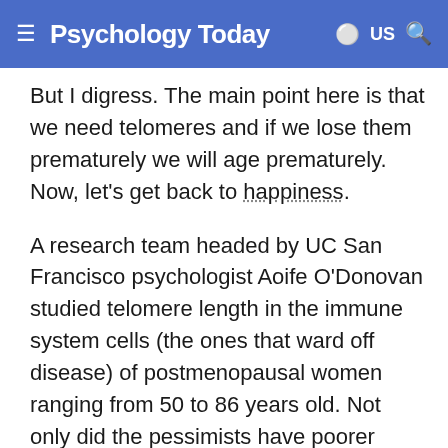Psychology Today  US
But I digress. The main point here is that we need telomeres and if we lose them prematurely we will age prematurely. Now, let's get back to happiness.
A research team headed by UC San Francisco psychologist Aoife O'Donovan studied telomere length in the immune system cells (the ones that ward off disease) of postmenopausal women ranging from 50 to 86 years old. Not only did the pessimists have poorer immune system functioning, but they also had shorter telomeres than the optimists. In fact, the correlation between pessimism and telomere length, even controlling for other important characteristics of their subjects